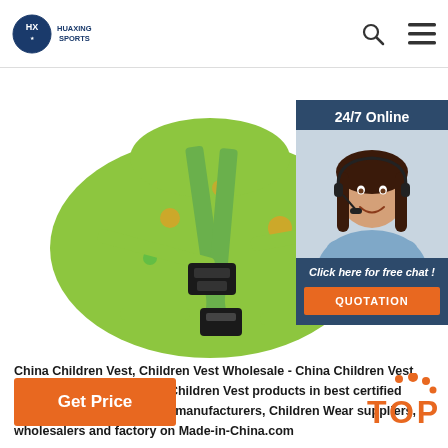HUAXING SPORTS
[Figure (photo): Close-up photo of a green children's life vest with black buckle clasps and orange/green patterned fabric straps]
[Figure (photo): 24/7 Online chat widget showing a smiling woman with headset, with 'Click here for free chat!' and QUOTATION button]
China Children Vest, Children Vest Wholesale - China Children Vest wholesale - Select quality Children Vest products in best certified Chinese Children Garment manufacturers, Children Wear suppliers, wholesalers and factory on Made-in-China.com
Get Price